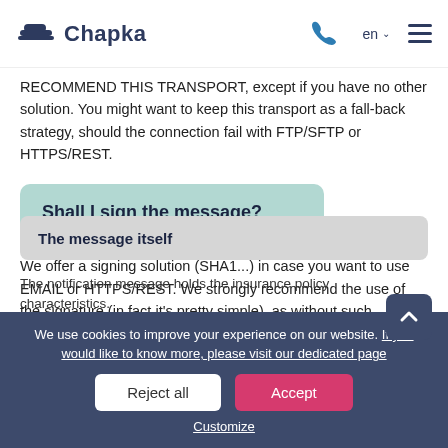Chapka
RECOMMEND THIS TRANSPORT, except if you have no other solution. You might want to keep this transport as a fall-back strategy, should the connection fail with FTP/SFTP or HTTPS/REST.
Shall I sign the message?
We offer a signing solution (SHA1...) in case you want to use EMAIL or HTTPS/REST. We strongly recommend the use of the signature (in fact it's pretty simple), as without such signature, a third party could transmit messages on your behalf...
The message itself
The notification message holds the insurance policy characteristics.
We use cookies to improve your experience on our website. If you would like to know more, please visit our dedicated page